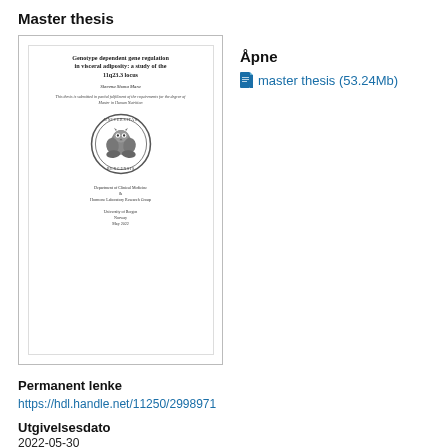Master thesis
[Figure (other): Thumbnail of master thesis cover page titled 'Genotype dependent gene regulation in visceral adiposity: a study of the 11q23.3 locus' with author Skreena Shana Mara, University of Bergen seal, Department of Clinical Medicine & Hormone Laboratory Research Group, University of Bergen, Norway, May 2022]
Åpne
master thesis (53.24Mb)
Permanent lenke
https://hdl.handle.net/11250/2998971
Utgivelsesdato
2022-05-30